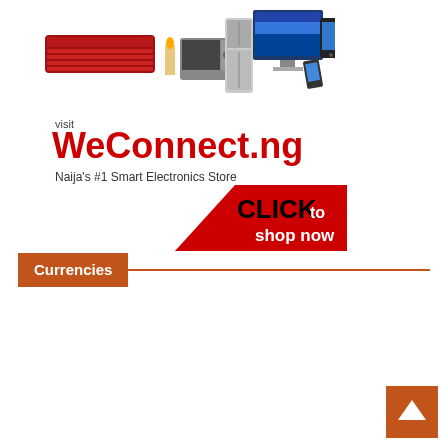[Figure (illustration): Electronics store advertisement banner showing various electronics products (air conditioner, microwave, refrigerator, TV, smartphone) with WeConnect.ng branding]
visit
WeConnect.ng
Naija's #1 Smart Electronics Store
[Figure (infographic): Red triangle/rectangle banner with text CLICK to shop now]
Currencies
[Figure (other): Scroll to top button - orange square with upward arrow]